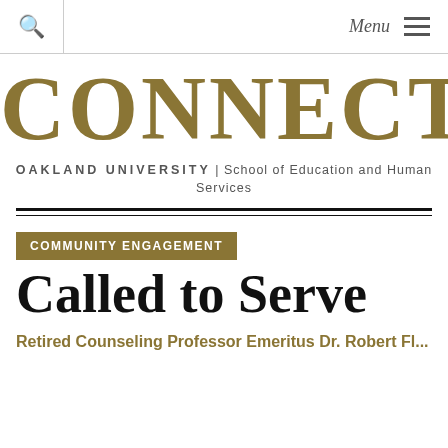🔍   Menu ≡
CONNECT
OAKLAND UNIVERSITY | School of Education and Human Services
COMMUNITY ENGAGEMENT
Called to Serve
Retired Counseling Professor Emeritus Dr. Robert Fl...